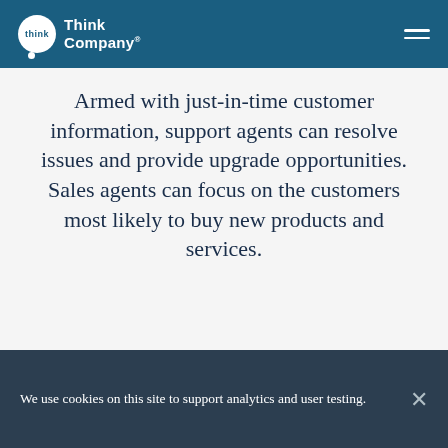Think Company
Armed with just-in-time customer information, support agents can resolve issues and provide upgrade opportunities. Sales agents can focus on the customers most likely to buy new products and services.
We use cookies on this site to support analytics and user testing.